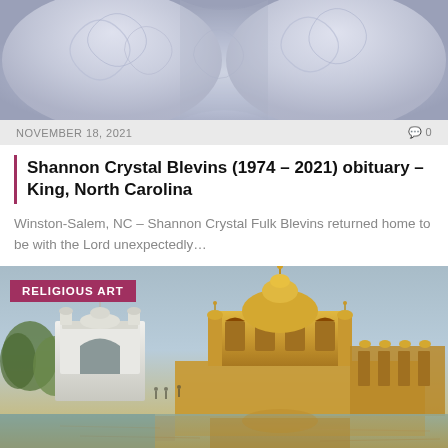[Figure (photo): Partial photo at top, cropped image showing decorative blue/white garment or fabric with ornate pattern]
NOVEMBER 18, 2021
0
Shannon Crystal Blevins (1974 – 2021) obituary – King, North Carolina
Winston-Salem, NC – Shannon Crystal Fulk Blevins returned home to be with the Lord unexpectedly…
[Figure (photo): Photo of the Golden Temple (Harmandir Sahib) in Amritsar with its golden structure reflected in the surrounding water, white gateway arch visible on the left, with a 'RELIGIOUS ART' label overlay in the top-left corner]